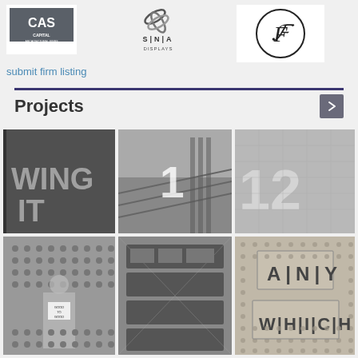[Figure (logo): CAS Capital Architectural Signs logo - gray square with white CAS text]
[Figure (logo): SNA Displays logo - circular swirl graphic above S|N|A DISPLAYS text]
[Figure (logo): Circular logo with stylized F letter inside]
submit firm listing
Projects
[Figure (photo): Grayscale photo of large dimensional letters reading 'WING IT' on a wall]
[Figure (photo): Grayscale photo of staircase with number 1 signage]
[Figure (photo): Grayscale photo of large building exterior dimensional letters]
[Figure (photo): Grayscale photo of person standing in front of a dotted wall display]
[Figure (photo): Grayscale photo of electronic/digital display equipment]
[Figure (photo): Grayscale photo of perforated sign reading ANY WHICH WAY]